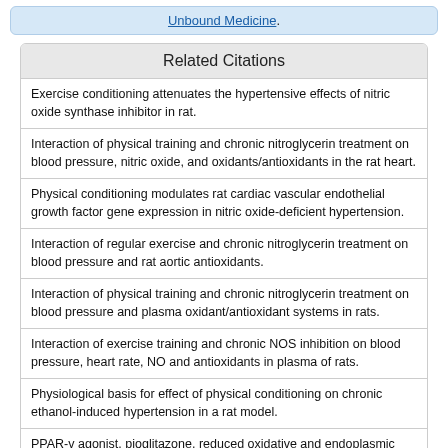Unbound Medicine.
Related Citations
Exercise conditioning attenuates the hypertensive effects of nitric oxide synthase inhibitor in rat.
Interaction of physical training and chronic nitroglycerin treatment on blood pressure, nitric oxide, and oxidants/antioxidants in the rat heart.
Physical conditioning modulates rat cardiac vascular endothelial growth factor gene expression in nitric oxide-deficient hypertension.
Interaction of regular exercise and chronic nitroglycerin treatment on blood pressure and rat aortic antioxidants.
Interaction of physical training and chronic nitroglycerin treatment on blood pressure and plasma oxidant/antioxidant systems in rats.
Interaction of exercise training and chronic NOS inhibition on blood pressure, heart rate, NO and antioxidants in plasma of rats.
Physiological basis for effect of physical conditioning on chronic ethanol-induced hypertension in a rat model.
PPAR-γ agonist, pioglitazone, reduced oxidative and endoplasmic reticulum stress associated with L-NAME-induced hypertension in rats.
Down regulation of aortic nitric oxide and antioxidant systems in chronic alcohol-induced hypertension in rats.